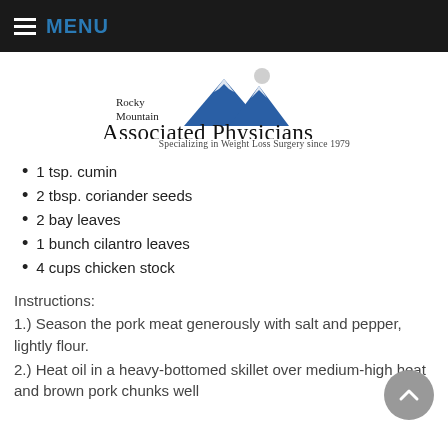MENU
[Figure (logo): Rocky Mountain Associated Physicians logo with blue mountain graphic. Text: Rocky Mountain Associated Physicians. Specializing in Weight Loss Surgery since 1979]
1 tsp. cumin
2 tbsp. coriander seeds
2 bay leaves
1 bunch cilantro leaves
4 cups chicken stock
Instructions:
1.) Season the pork meat generously with salt and pepper, lightly flour.
2.) Heat oil in a heavy-bottomed skillet over medium-high heat and brown pork chunks well